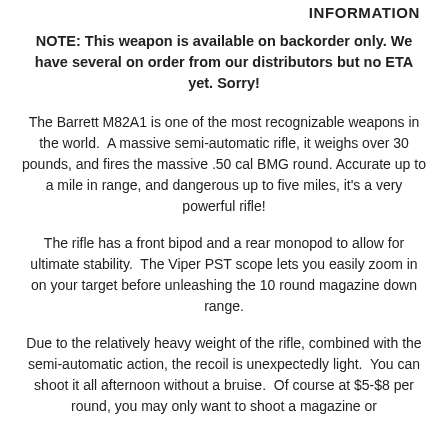INFORMATION
NOTE: This weapon is available on backorder only. We have several on order from our distributors but no ETA yet. Sorry!
The Barrett M82A1 is one of the most recognizable weapons in the world.  A massive semi-automatic rifle, it weighs over 30 pounds, and fires the massive .50 cal BMG round.  Accurate up to a mile in range, and dangerous up to five miles, it's a very powerful rifle!
The rifle has a front bipod and a rear monopod to allow for ultimate stability.  The Viper PST scope lets you easily zoom in on your target before unleashing the 10 round magazine down range.
Due to the relatively heavy weight of the rifle, combined with the semi-automatic action, the recoil is unexpectedly light.  You can shoot it all afternoon without a bruise.  Of course at $5-$8 per round, you may only want to shoot a magazine or